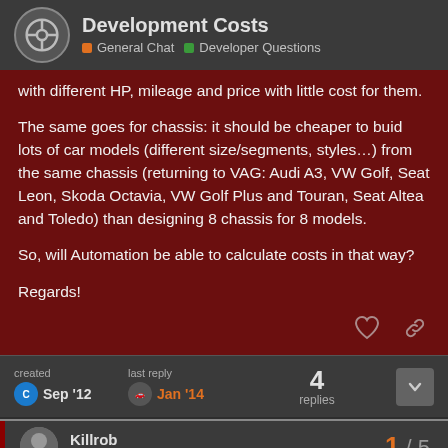Development Costs — General Chat | Developer Questions
with different HP, mileage and price with little cost for them.
The same goes for chassis: it should be cheaper to buid lots of car models (different size/segments, styles…) from the same chassis (returning to VAG: Audi A3, VW Golf, Seat Leon, Skoda Octavia, VW Golf Plus and Touran, Seat Altea and Toledo) than designing 8 chassis for 8 models.
So, will Automation be able to calculate costs in that way?
Regards!
created Sep '12  last reply Jan '14  4 replies
Killrob
Developer - Producer & Designer
1 / 5